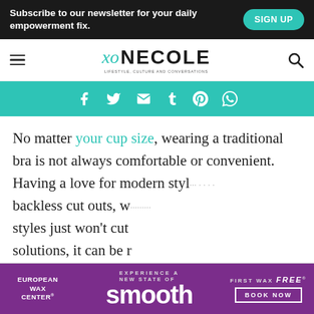Subscribe to our newsletter for your daily empowerment fix.
[Figure (logo): xoNecole website logo with hamburger menu and search icon]
[Figure (infographic): Teal social sharing bar with Facebook, Twitter, Email, Tumblr, Pinterest, WhatsApp icons]
No matter your cup size, wearing a traditional bra is not always comfortable or convenient. Having a love for modern styles with backless cut outs, w... styles just won't cut... solutions, it can be... that can fulfill our in...
[Figure (infographic): European Wax Center advertisement: Experience a new state of smooth. First wax free. Book Now.]